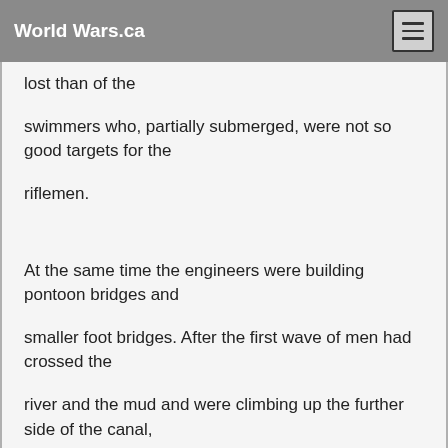World Wars.ca
lost than of the

swimmers who, partially submerged, were not so good targets for the

riflemen.



At the same time the engineers were building pontoon bridges and

smaller foot bridges. After the first wave of men had crossed the

river and the mud and were climbing up the further side of the canal,